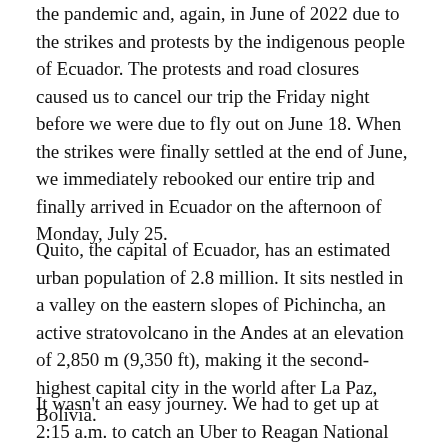the pandemic and, again, in June of 2022 due to the strikes and protests by the indigenous people of Ecuador. The protests and road closures caused us to cancel our trip the Friday night before we were due to fly out on June 18. When the strikes were finally settled at the end of June, we immediately rebooked our entire trip and finally arrived in Ecuador on the afternoon of Monday, July 25.
Quito, the capital of Ecuador, has an estimated urban population of 2.8 million. It sits nestled in a valley on the eastern slopes of Pichincha, an active stratovolcano in the Andes at an elevation of 2,850 m (9,350 ft), making it the second-highest capital city in the world after La Paz, Bolivia.
It wasn't an easy journey. We had to get up at 2:15 a.m. to catch an Uber to Reagan National Airport for a 6 a.m. flight. After a 2-hour layover in Miami, we arrived in Quito at 2:00